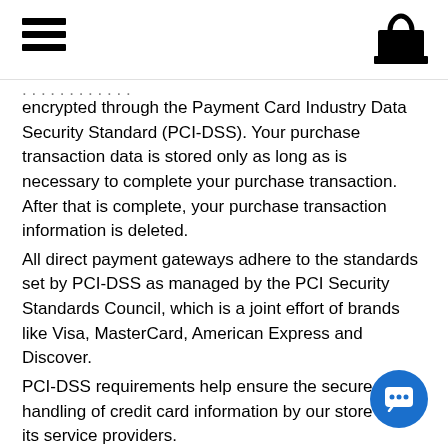[hamburger menu icon] [shopping bag icon]
encrypted through the Payment Card Industry Data Security Standard (PCI-DSS). Your purchase transaction data is stored only as long as is necessary to complete your purchase transaction. After that is complete, your purchase transaction information is deleted.
All direct payment gateways adhere to the standards set by PCI-DSS as managed by the PCI Security Standards Council, which is a joint effort of brands like Visa, MasterCard, American Express and Discover.
PCI-DSS requirements help ensure the secure handling of credit card information by our store and its service providers.
For more insight, you may also want to read Shopify's Terms of Service (https://www.shopify.com/legal/terms) or Privacy Statement (https://www.shopify.com/legal/privacy).
SECTION 5 - THIRD-PARTY SERVICES